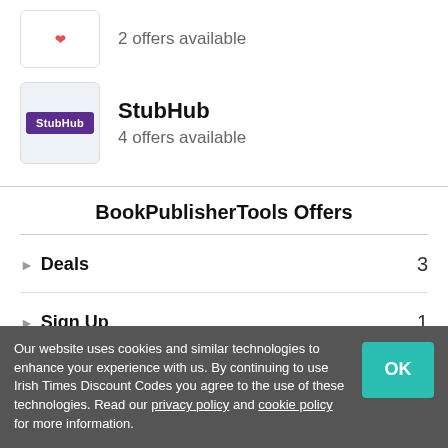2 offers available
[Figure (logo): StubHub logo — white text 'StubHub' on dark purple/violet banner badge, inside a light blue-gray bordered box]
StubHub
4 offers available
BookPublisherTools Offers
Deals  3
Sign Up  1
Our website uses cookies and similar technologies to enhance your experience with us. By continuing to use Irish Times Discount Codes you agree to the use of these technologies. Read our privacy policy and cookie policy for more information.